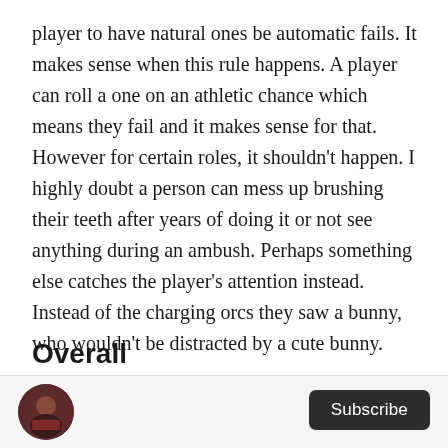player to have natural ones be automatic fails. It makes sense when this rule happens. A player can roll a one on an athletic chance which means they fail and it makes sense for that. However for certain roles, it shouldn't happen. I highly doubt a person can mess up brushing their teeth after years of doing it or not see anything during an ambush. Perhaps something else catches the player's attention instead. Instead of the charging orcs they saw a bunny, who wouldn't be distracted by a cute bunny.
Overall
[Figure (other): Circular avatar photo of a person in a dark patterned sweater]